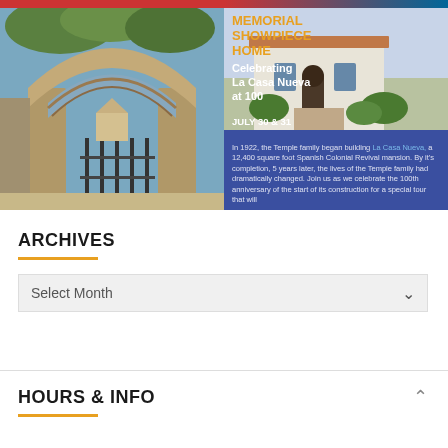[Figure (photo): Left panel showing a stone archway with brick arch detail, ironwork gate beyond, and trees in background. Red bar at top.]
[Figure (photo): Right panel showing a Spanish Colonial Revival home in white, with overlay text reading MEMORIAL SHOWPIECE HOME Celebrating La Casa Nueva at 100, JULY 30 & 31 12, 1, 2, & 3 P.M., and blue panel with description text.]
ARCHIVES
Select Month
HOURS & INFO